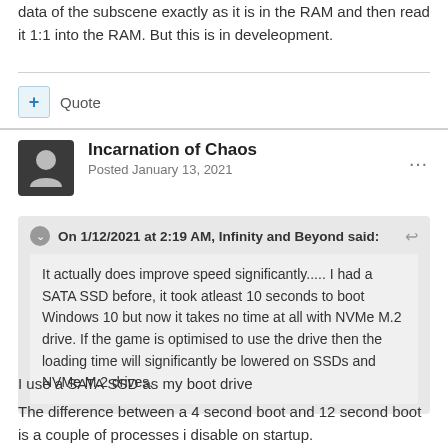data of the subscene exactly as it is in the RAM and then read it 1:1 into the RAM. But this is in develeopment.
+ Quote
Incarnation of Chaos
Posted January 13, 2021
On 1/12/2021 at 2:19 AM, Infinity and Beyond said:
It actually does improve speed significantly..... I had a SATA SSD before, it took atleast 10 seconds to boot Windows 10 but now it takes no time at all with NVMe M.2 drive. If the game is optimised to use the drive then the loading time will significantly be lowered on SSDs and NVMe M.2 drives.
I use a SATA SSD as my boot drive
The difference between a 4 second boot and 12 second boot is a couple of processes i disable on startup.